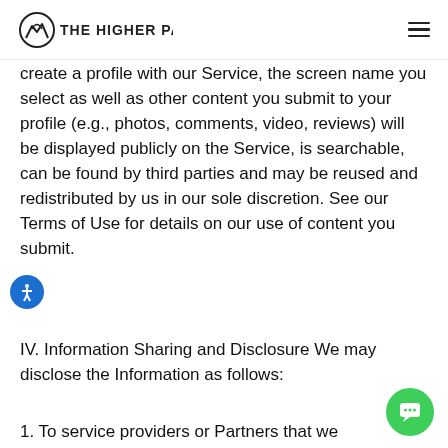THE HIGHER PATH
create a profile with our Service, the screen name you select as well as other content you submit to your profile (e.g., photos, comments, video, reviews) will be displayed publicly on the Service, is searchable, can be found by third parties and may be reused and redistributed by us in our sole discretion. See our Terms of Use for details on our use of content you submit.
IV. Information Sharing and Disclosure We may disclose the Information as follows:
1. To service providers or Partners that we